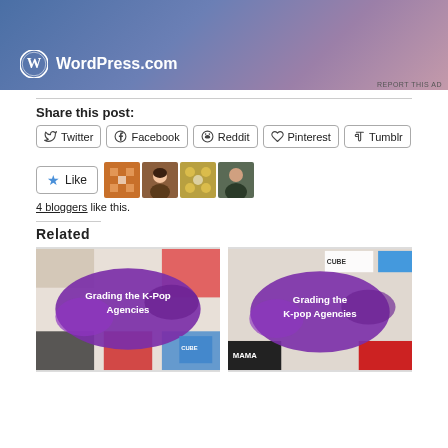[Figure (screenshot): WordPress.com advertisement banner with blue-pink gradient background and WordPress logo]
REPORT THIS AD
Share this post:
Twitter | Facebook | Reddit | Pinterest | Tumblr (share buttons)
[Figure (screenshot): Like button with star icon and 4 blogger avatars]
4 bloggers like this.
Related
[Figure (screenshot): Related post image: Grading the K-Pop Agencies (left card)]
[Figure (screenshot): Related post image: Grading the K-pop Agencies (right card)]